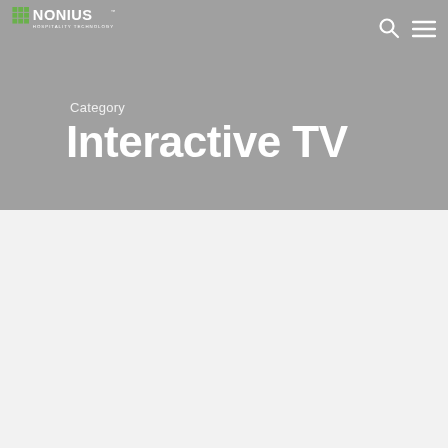[Figure (logo): Nonius Hospitality Technology logo in white]
Category
Interactive TV